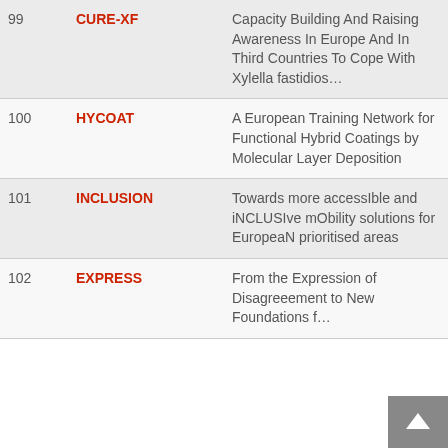| # | Acronym | Title |
| --- | --- | --- |
| 99 | CURE-XF | Capacity Building And Raising Awareness In Europe And In Third Countries To Cope With Xylella fastidiosa |
| 100 | HYCOAT | A European Training Network for Functional Hybrid Coatings by Molecular Layer Deposition |
| 101 | INCLUSION | Towards more accessIble and iNCLUSIve mObility solutions for EuropeaN prioritised areas |
| 102 | EXPRESS | From the Expression of Disagreeement to New Foundations for |